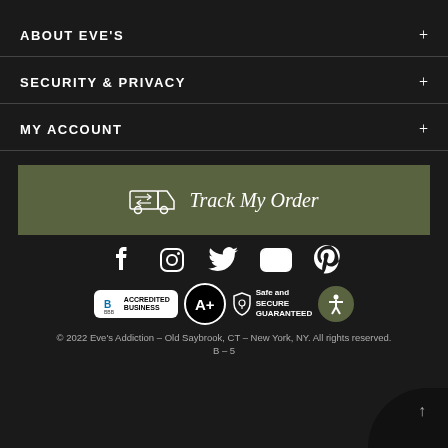ABOUT EVE'S
SECURITY & PRIVACY
MY ACCOUNT
[Figure (infographic): Track My Order button with truck icon on olive/green background]
[Figure (infographic): Row of social media icons: Facebook, Instagram, Twitter, YouTube, Pinterest]
[Figure (infographic): Trust badges: BBB Accredited Business A+, Safe and Secure Guaranteed, Accessibility icon]
© 2022 Eve's Addiction – Old Saybrook, CT – New York, NY. All rights reserved.
B – 5